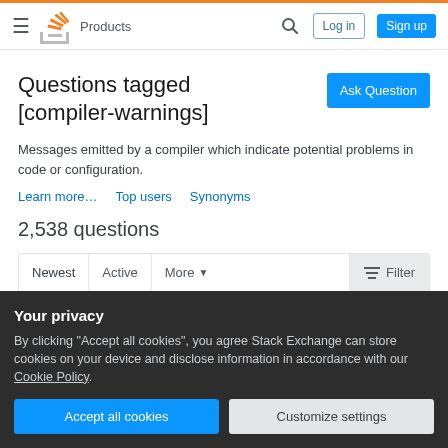Stack Overflow — hamburger, logo, Products, search, Log in, Sign up
Questions tagged [compiler-warnings]
Messages emitted by a compiler which indicate potential problems in code or configuration.
Learn more… Top users Synonyms
2,538 questions
Newest | Active | More ▼ | Filter
Your privacy
By clicking "Accept all cookies", you agree Stack Exchange can store cookies on your device and disclose information in accordance with our Cookie Policy.
Accept all cookies | Customize settings